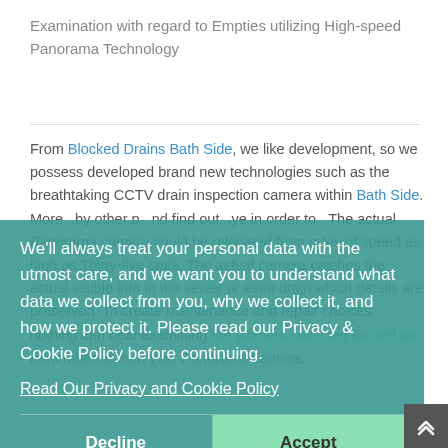Examination with regard to Empties utilizing High-speed Panorama Technology
From Blocked Drains Bath Side, we like development, so we possess developed brand new technologies such as the breathtaking CCTV drain inspection camera within Bath Side. More...and find out...ye in order...The actual Panorama camera could be relocated from rates of speed as high as Thirty-five cm/s. The actual camera catches the actual visible info in the sewer or even drain which details are preserved. To create maintenance and repair choices, nothing can beat examining the pictures collected as well as remembered from your Panorama camera.
We'll always treat your personal data with the utmost care, and we want you to understand what data we collect from you, why we collect it, and how we protect it. Please read our Privacy & Cookie Policy before continuing.
Read Our Privacy and Cookie Policy
Decline
Accept